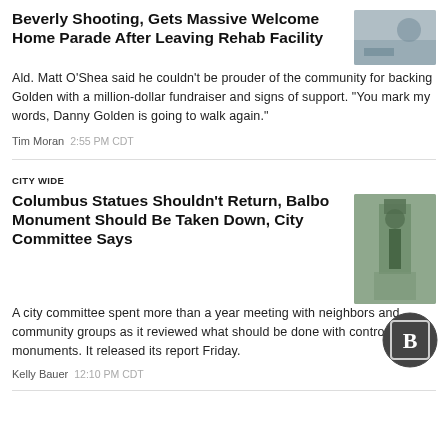Beverly Shooting, Gets Massive Welcome Home Parade After Leaving Rehab Facility
Ald. Matt O'Shea said he couldn't be prouder of the community for backing Golden with a million-dollar fundraiser and signs of support. "You mark my words, Danny Golden is going to walk again."
Tim Moran  2:55 PM CDT
CITY WIDE
Columbus Statues Shouldn't Return, Balbo Monument Should Be Taken Down, City Committee Says
A city committee spent more than a year meeting with neighbors and community groups as it reviewed what should be done with controversial monuments. It released its report Friday.
Kelly Bauer  12:10 PM CDT